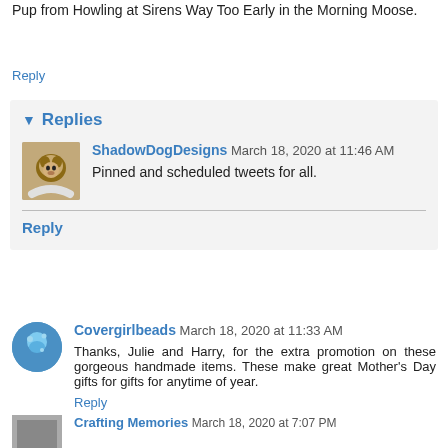Pup from Howling at Sirens Way Too Early in the Morning Moose.
Reply
Replies
ShadowDogDesigns March 18, 2020 at 11:46 AM
Pinned and scheduled tweets for all.
Reply
Covergirlbeads March 18, 2020 at 11:33 AM
Thanks, Julie and Harry, for the extra promotion on these gorgeous handmade items. These make great Mother's Day gifts for gifts for anytime of year.
Reply